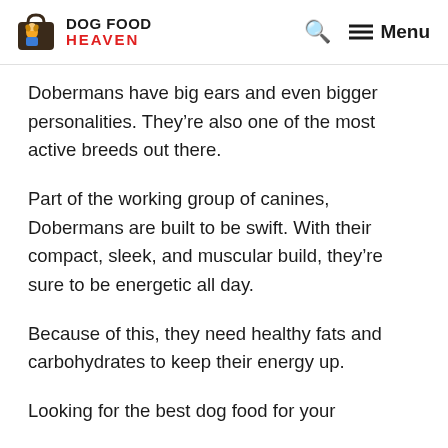DOG FOOD HEAVEN
Dobermans have big ears and even bigger personalities. They’re also one of the most active breeds out there.
Part of the working group of canines, Dobermans are built to be swift. With their compact, sleek, and muscular build, they’re sure to be energetic all day.
Because of this, they need healthy fats and carbohydrates to keep their energy up.
Looking for the best dog food for your